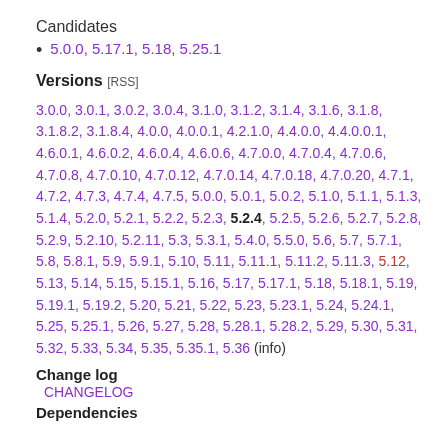Candidates
5.0.0, 5.17.1, 5.18, 5.25.1
Versions [RSS]
3.0.0, 3.0.1, 3.0.2, 3.0.4, 3.1.0, 3.1.2, 3.1.4, 3.1.6, 3.1.8, 3.1.8.2, 3.1.8.4, 4.0.0, 4.0.0.1, 4.2.1.0, 4.4.0.0, 4.4.0.0.1, 4.6.0.1, 4.6.0.2, 4.6.0.4, 4.6.0.6, 4.7.0.0, 4.7.0.4, 4.7.0.6, 4.7.0.8, 4.7.0.10, 4.7.0.12, 4.7.0.14, 4.7.0.18, 4.7.0.20, 4.7.1, 4.7.2, 4.7.3, 4.7.4, 4.7.5, 5.0.0, 5.0.1, 5.0.2, 5.1.0, 5.1.1, 5.1.3, 5.1.4, 5.2.0, 5.2.1, 5.2.2, 5.2.3, 5.2.4, 5.2.5, 5.2.6, 5.2.7, 5.2.8, 5.2.9, 5.2.10, 5.2.11, 5.3, 5.3.1, 5.4.0, 5.5.0, 5.6, 5.7, 5.7.1, 5.8, 5.8.1, 5.9, 5.9.1, 5.10, 5.11, 5.11.1, 5.11.2, 5.11.3, 5.12, 5.13, 5.14, 5.15, 5.15.1, 5.16, 5.17, 5.17.1, 5.18, 5.18.1, 5.19, 5.19.1, 5.19.2, 5.20, 5.21, 5.22, 5.23, 5.23.1, 5.24, 5.24.1, 5.25, 5.25.1, 5.26, 5.27, 5.28, 5.28.1, 5.28.2, 5.29, 5.30, 5.31, 5.32, 5.33, 5.34, 5.35, 5.35.1, 5.36 (info)
Change log
CHANGELOG
Dependencies